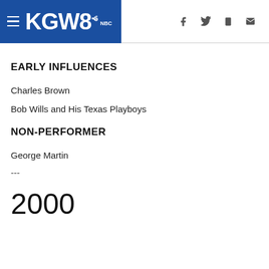KGW8 — navigation header with social icons
EARLY INFLUENCES
Charles Brown
Bob Wills and His Texas Playboys
NON-PERFORMER
George Martin
---
2000